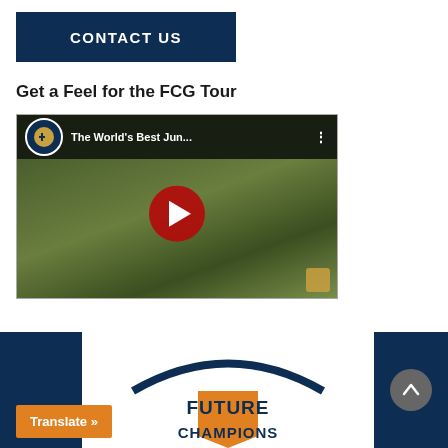[Figure (other): CONTACT US button with dark navy background and white bold text]
Get a Feel for the FCG Tour
[Figure (screenshot): YouTube video thumbnail showing junior golfer with title 'The World's Best Jun...' and red play button overlay]
[Figure (logo): Future Champions Golf logo with navy arch and orange shield at bottom of page]
[Figure (other): Translate button (orange) on bottom left, dark navy sidebar panels on left and right, scroll-up button on bottom right]